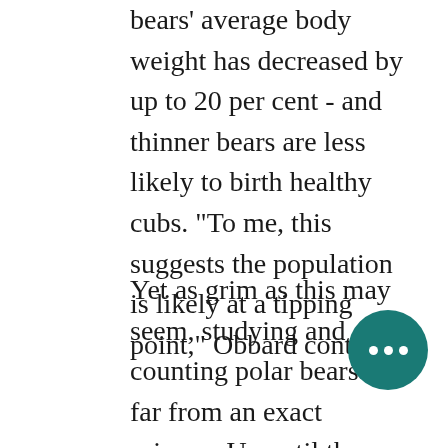bears' average body weight has decreased by up to 20 per cent - and thinner bears are less likely to birth healthy cubs. "To me, this suggests the population is likely at a tipping point," Obbard contends.
Yet as grim as this may seem, studying and counting polar bears is far from an exact science. Up until the mid-1980s, it was downright sketchy. "It was then that we developed the statistical and drugging techniques" needed to count bears, Derocher
[Figure (other): A teal/dark green circular button with three white dots (ellipsis/more options icon) positioned at the bottom right of the page.]